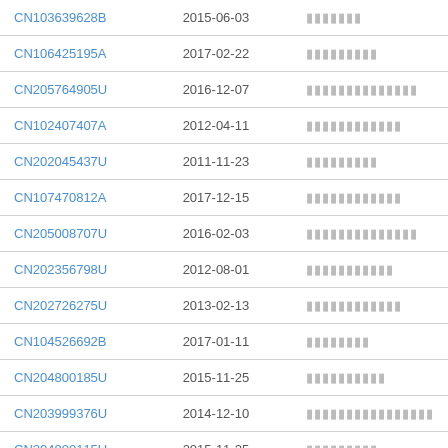| Patent Number | Date | Description |
| --- | --- | --- |
| CN103639628B | 2015-06-03 | ▮▮▮▮▮▮▮ |
| CN106425195A | 2017-02-22 | ▮▮▮▮▮▮▮▮▮ |
| CN205764905U | 2016-12-07 | ▮▮▮▮▮▮▮▮▮▮▮▮▮▮ |
| CN102407407A | 2012-04-11 | ▮▮▮▮▮▮▮▮▮▮▮▮ |
| CN202045437U | 2011-11-23 | ▮▮▮▮▮▮▮▮▮ |
| CN107470812A | 2017-12-15 | ▮▮▮▮▮▮▮▮▮▮▮▮ |
| CN205008707U | 2016-02-03 | ▮▮▮▮▮▮▮▮▮▮▮▮▮▮ |
| CN202356798U | 2012-08-01 | ▮▮▮▮▮▮▮▮▮▮▮ |
| CN202726275U | 2013-02-13 | ▮▮▮▮▮▮▮▮▮▮▮▮ |
| CN104526692B | 2017-01-11 | ▮▮▮▮▮▮▮▮ |
| CN204800185U | 2015-11-25 | ▮▮▮▮▮▮▮▮▮▮ |
| CN203999376U | 2014-12-10 | ▮▮▮▮▮▮▮▮▮▮▮▮▮▮▮▮ |
| CN204800115U | 2015-11-25 | ▮▮▮▮▮▮▮▮▮ |